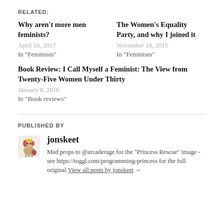RELATED:
Why aren't more men feminists?
April 16, 2017
In "Feminism"
The Women's Equality Party, and why I joined it
November 16, 2015
In "Feminism"
Book Review: I Call Myself a Feminist: The View from Twenty-Five Women Under Thirty
January 8, 2016
In "Book reviews"
PUBLISHED BY
jonskeet
Mad props to @arcaderage for the "Princess Rescue" image - see https://toggl.com/programming-princess for the full original View all posts by jonskeet →